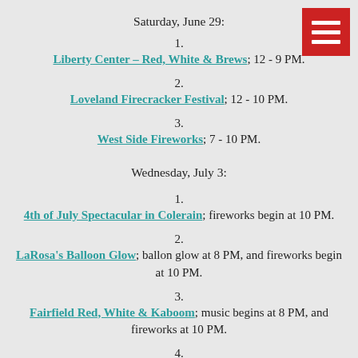[Figure (other): Red hamburger menu icon in top right corner]
Saturday, June 29:
1. Liberty Center  – Red, White & Brews; 12 - 9 PM.
2. Loveland Firecracker Festival; 12 - 10 PM.
3. West Side Fireworks; 7 - 10 PM.
Wednesday, July 3:
1. 4th of July Spectacular in Colerain; fireworks begin at 10 PM.
2. LaRosa's Balloon Glow; ballon glow at 8 PM, and fireworks begin at 10 PM.
3. Fairfield Red, White & Kaboom; music begins at 8 PM, and fireworks at 10 PM.
4.